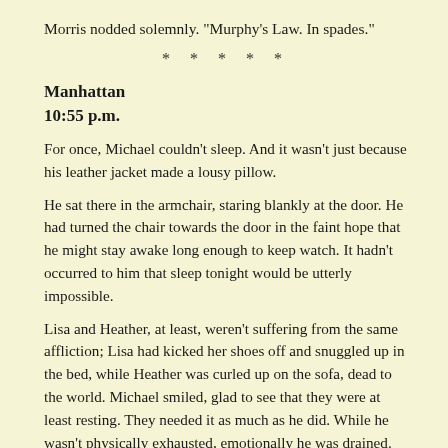Morris nodded solemnly. "Murphy's Law. In spades."
* * * * *
Manhattan
10:55 p.m.
For once, Michael couldn't sleep. And it wasn't just because his leather jacket made a lousy pillow.
He sat there in the armchair, staring blankly at the door. He had turned the chair towards the door in the faint hope that he might stay awake long enough to keep watch. It hadn't occurred to him that sleep tonight would be utterly impossible.
Lisa and Heather, at least, weren't suffering from the same affliction; Lisa had kicked her shoes off and snuggled up in the bed, while Heather was curled up on the sofa, dead to the world. Michael smiled, glad to see that they were at least resting. They needed it as much as he did. While he wasn't physically exhausted, emotionally he was drained. In the course of an afternoon, he'd kissed Lisa, punched out the Doc, hustled his family out of the house on a mad dash, and